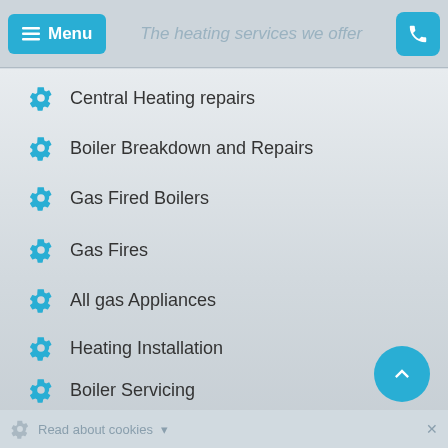Menu — The heating services we offer
Central Heating repairs
Boiler Breakdown and Repairs
Gas Fired Boilers
Gas Fires
All gas Appliances
Heating Installation
Boiler Servicing
Fault Finding & Repairs
Landlord Certificates
Radiators
Upgrading gas pipe-work
Read about cookies